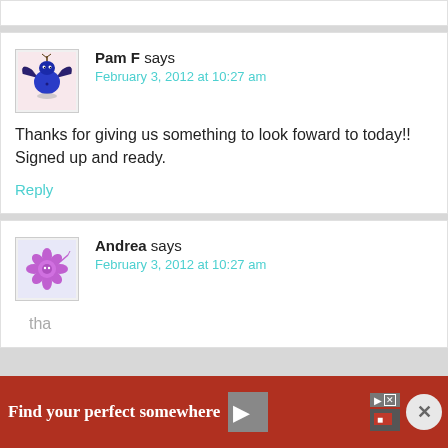Pam F says
February 3, 2012 at 10:27 am
Thanks for giving us something to look foward to today!! Signed up and ready.
Reply
Andrea says
February 3, 2012 at 10:27 am
[Figure (screenshot): Advertisement banner: Find your perfect somewhere, with red background]
Find your perfect somewhere